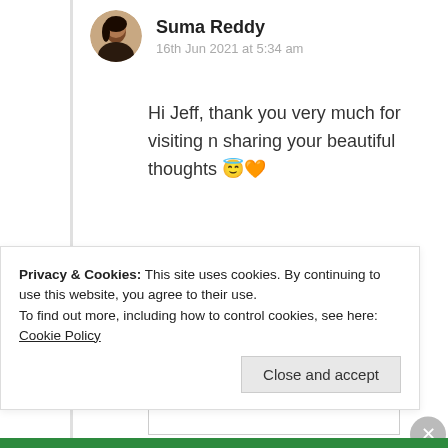[Figure (photo): Circular avatar photo of Suma Reddy]
Suma Reddy
16th Jun 2021 at 5:34 am
Hi Jeff, thank you very much for visiting n sharing your beautiful thoughts 😇🧡
★ Liked by 1 person
Log in to Reply
Privacy & Cookies: This site uses cookies. By continuing to use this website, you agree to their use.
To find out more, including how to control cookies, see here: Cookie Policy
Close and accept